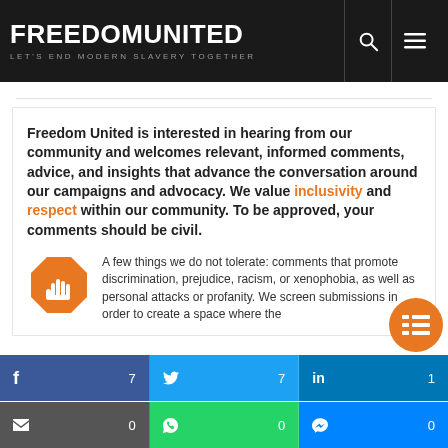FREEDOM UNITED — LET'S END MODERN SLAVERY TOGETHER
Freedom United is interested in hearing from our community and welcomes relevant, informed comments, advice, and insights that advance the conversation around our campaigns and advocacy. We value inclusivity and respect within our community. To be approved, your comments should be civil.
A few things we do not tolerate: comments that promote discrimination, prejudice, racism, or xenophobia, as well as personal attacks or profanity. We screen submissions in order to create a space where the
f 7   🐦 7   in 1   ✉ 0   WhatsApp 0   Messenger 0